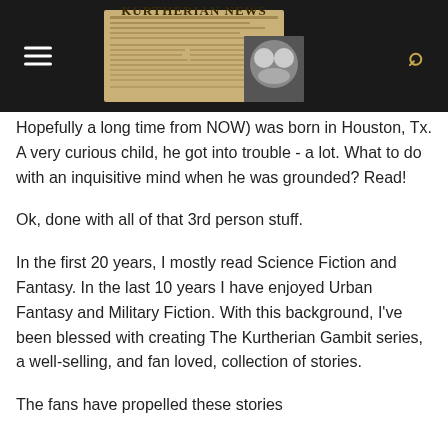KURTHERIAN NEWS
Hopefully a long time from NOW) was born in Houston, Tx. A very curious child, he got into trouble - a lot. What to do with an inquisitive mind when he was grounded? Read!
Ok, done with all of that 3rd person stuff.
In the first 20 years, I mostly read Science Fiction and Fantasy. In the last 10 years I have enjoyed Urban Fantasy and Military Fiction. With this background, I've been blessed with creating The Kurtherian Gambit series, a well-selling, and fan loved, collection of stories.
The fans have propelled these stories